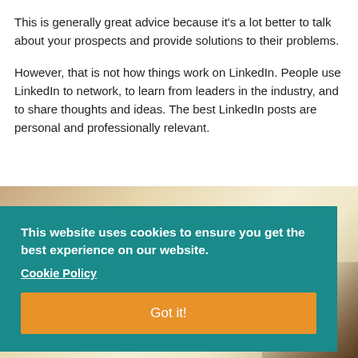This is generally great advice because it's a lot better to talk about your prospects and provide solutions to their problems.
However, that is not how things work on LinkedIn. People use LinkedIn to network, to learn from leaders in the industry, and to share thoughts and ideas. The best LinkedIn posts are personal and professionally relevant.
[Figure (photo): Photo of a person working on a tablet/document, partially obscured by cookie consent overlay]
This website uses cookies to ensure you get the best experience on our website. Cookie Policy
Got it!